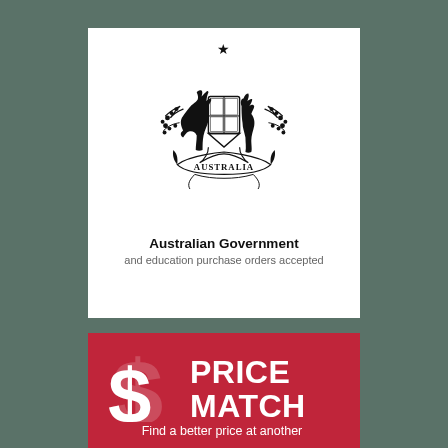[Figure (logo): Australian Government coat of arms logo with kangaroo and emu flanking a shield, wattle branches, and 'AUSTRALIA' banner]
Australian Government
and education purchase orders accepted
[Figure (logo): Price Match Guarantee logo: large dollar sign on red background with 'PRICE MATCH' in white bold text and 'GUARANTEE' in green spaced caps]
Find a better price at another